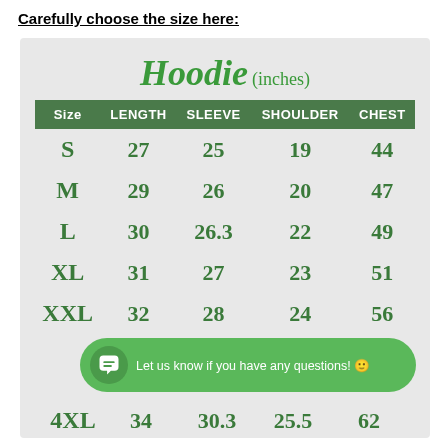Carefully choose the size here:
| Size | LENGTH | SLEEVE | SHOULDER | CHEST |
| --- | --- | --- | --- | --- |
| S | 27 | 25 | 19 | 44 |
| M | 29 | 26 | 20 | 47 |
| L | 30 | 26.3 | 22 | 49 |
| XL | 31 | 27 | 23 | 51 |
| XXL | 32 | 28 | 24 | 56 |
| 4XL | 34 | 30.3 | 25.5 | 62 |
Let us know if you have any questions! 😊